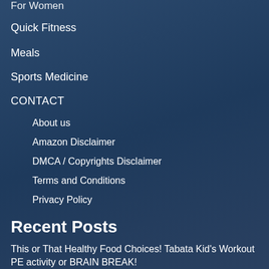For Women
Quick Fitness
Meals
Sports Medicine
CONTACT
About us
Amazon Disclaimer
DMCA / Copyrights Disclaimer
Terms and Conditions
Privacy Policy
Recent Posts
This or That Healthy Food Choices! Tabata Kid's Workout PE activity or BRAIN BREAK!
Aqua Aerobic Fitness 35 min Water Workout - Intervals